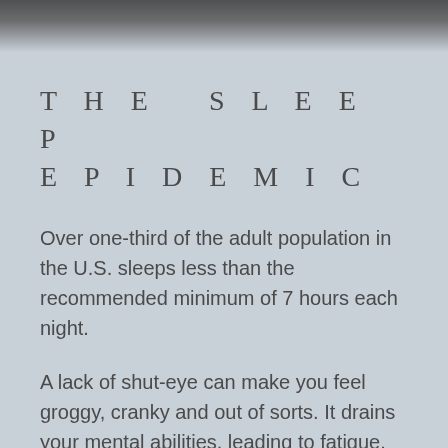[Figure (photo): Blurred dark photograph of a person sleeping, cropped at top of page]
THE SLEEP EPIDEMIC
Over one-third of the adult population in the U.S. sleeps less than the recommended minimum of 7 hours each night.
A lack of shut-eye can make you feel groggy, cranky and out of sorts. It drains your mental abilities, leading to fatigue, poor concentration and fatal car accidents. Science has linked sleep...